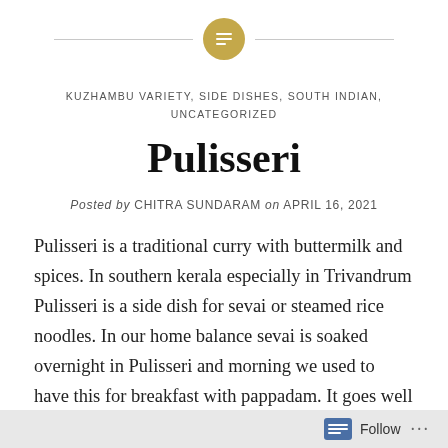KUZHAMBU VARIETY, SIDE DISHES, SOUTH INDIAN, UNCATEGORIZED
Pulisseri
Posted by CHITRA SUNDARAM on APRIL 16, 2021
Pulisseri is a traditional curry with buttermilk and spices. In southern kerala especially in Trivandrum Pulisseri is a side dish for sevai or steamed rice noodles. In our home balance sevai is soaked overnight in Pulisseri and morning we used to have this for breakfast with pappadam. It goes well with plain rice,